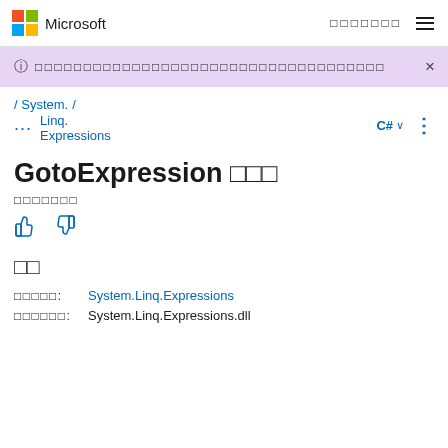Microsoft
ⓘ [banner notification text]  ×
/ System. / ... Linq. Expressions  C# ∨ ⋮
GotoExpression □□□
□□□□□□□
□□
□□□□□:  System.Linq.Expressions
□□□□□□:  System.Linq.Expressions.dll